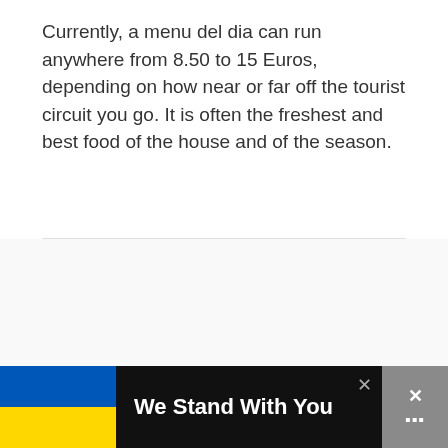Currently, a menu del dia can run anywhere from 8.50 to 15 Euros, depending on how near or far off the tourist circuit you go. It is often the freshest and best food of the house and of the season.
[Figure (other): Empty white/light gray content area with three small gray dots centered, floating action buttons (heart and share) on the right side]
[Figure (infographic): Bottom advertisement bar with Ukrainian flag (blue and yellow), text 'We Stand With You', close buttons and gray box with X and dots icons]